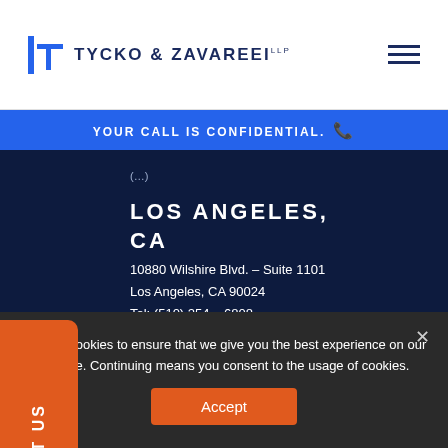Tycko & Zavareei LLP
YOUR CALL IS CONFIDENTIAL.
LOS ANGELES, CA
10880 Wilshire Blvd. – Suite 1101
Los Angeles, CA 90024
Tel: (510) 254 – 6808
The information you obtain at this site is not, nor is it intended to be, legal advice. You should consult your attorney for individual advice regarding your situation.
We use cookies to ensure that we give you the best experience on our website. Continuing means you consent to the usage of cookies.